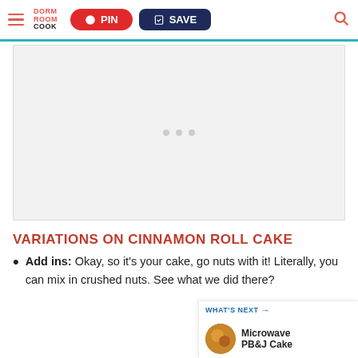DORM ROOM COOK | PIN | SAVE
[Figure (other): Advertisement placeholder area with three gray dots in the center]
VARIATIONS ON CINNAMON ROLL CAKE
Add ins: Okay, so it's your cake, go nuts with it! Literally, you can mix in crushed nuts. See what we did there?